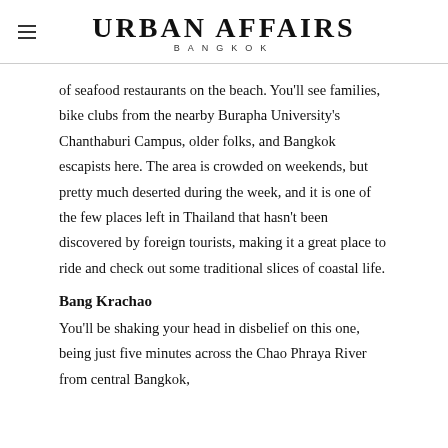URBAN AFFAIRS BANGKOK
of seafood restaurants on the beach. You'll see families, bike clubs from the nearby Burapha University's Chanthaburi Campus, older folks, and Bangkok escapists here. The area is crowded on weekends, but pretty much deserted during the week, and it is one of the few places left in Thailand that hasn't been discovered by foreign tourists, making it a great place to ride and check out some traditional slices of coastal life.
Bang Krachao
You'll be shaking your head in disbelief on this one, being just five minutes across the Chao Phraya River from central Bangkok,